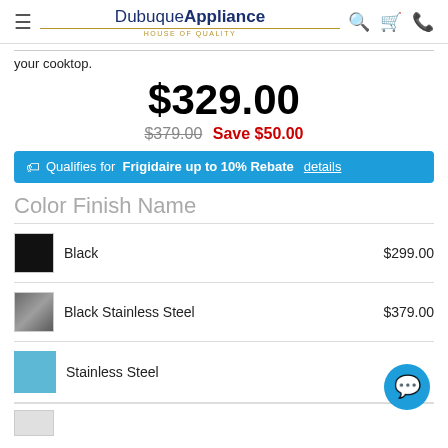Dubuque Appliance - House of Quality
your cooktop.
$329.00
$379.00  Save $50.00
Qualifies for Frigidaire up to 10% Rebate details
Color Finish Name
| Swatch | Color | Price |
| --- | --- | --- |
|  | Black | $299.00 |
|  | Black Stainless Steel | $379.00 |
|  | Stainless Steel | $—.00 |